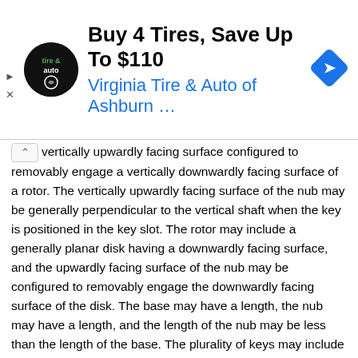[Figure (other): Advertisement banner: Virginia Tire & Auto of Ashburn with logo and navigation icon. Headline: Buy 4 Tires, Save Up To $110. Subtitle: Virginia Tire & Auto of Ashburn …]
vertically upwardly facing surface configured to removably engage a vertically downwardly facing surface of a rotor. The vertically upwardly facing surface of the nub may be generally perpendicular to the vertical shaft when the key is positioned in the key slot. The rotor may include a generally planar disk having a downwardly facing surface, and the upwardly facing surface of the nub may be configured to removably engage the downwardly facing surface of the disk. The base may have a length, the nub may have a length, and the length of the nub may be less than the length of the base. The plurality of keys may include a first key and a second key, and the length of the nub of the second key may be larger than the length of the nub of the first key. The length of the nub may be defined based on a characteristic of material to be processed by the vertical shaft impactor. The lower surface of each of the cutting disks may be vertically spaced from one of the shelves by a gap. The gap may have a minimum height in the range of about 1 inch. The fan blade of the cutting assembly may include a flange mounted to the bottom side of the cutting disk and a blade portion extending generally downwardly from the flange to define an angle with the flange that is greater than 90 degrees. The cutting blade of